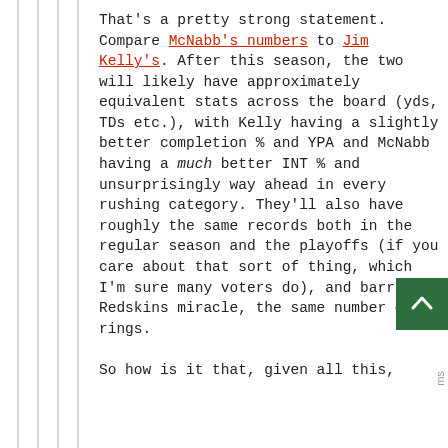That's a pretty strong statement. Compare McNabb's numbers to Jim Kelly's. After this season, the two will likely have approximately equivalent stats across the board (yds, TDs etc.), with Kelly having a slightly better completion % and YPA and McNabb having a much better INT % and unsurprisingly way ahead in every rushing category. They'll also have roughly the same records both in the regular season and the playoffs (if you care about that sort of thing, which I'm sure many voters do), and barring a Redskins miracle, the same number of rings.

So how is it that, given all this,